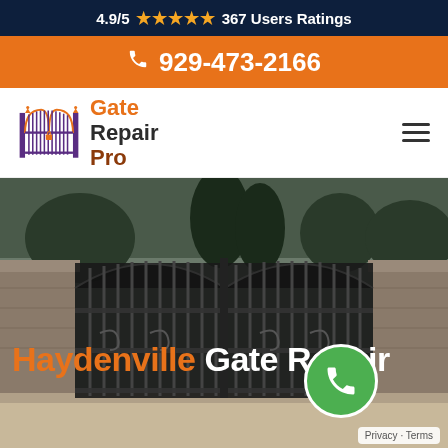4.9/5 ★★★★★ 367 Users Ratings
929-473-2166
[Figure (logo): Gate Repair Pro logo with ornamental gate icon and text 'Gate Repair Pro']
[Figure (photo): Photo of ornamental iron double gate with stone pillars, trees in background, driveway in foreground. Overlaid text: 'Haydenville Gate Repair' with green phone circle button.]
Privacy · Terms